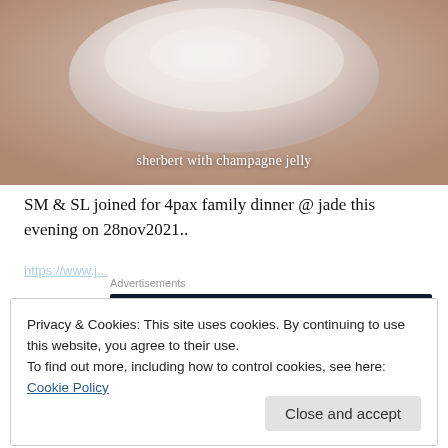[Figure (photo): Photo of a bowl with sherbert and champagne jelly, with caption overlay]
sherbert with champagne jelly
SM & SL joined for 4pax family dinner @ jade this evening on 28nov2021..
Advertisements
[Figure (other): Advertisement banner: Opinions. We all have them! with WordPress and Daily Mail World logos]
REPORT THIS AD
Privacy & Cookies: This site uses cookies. By continuing to use this website, you agree to their use.
To find out more, including how to control cookies, see here: Cookie Policy
Close and accept